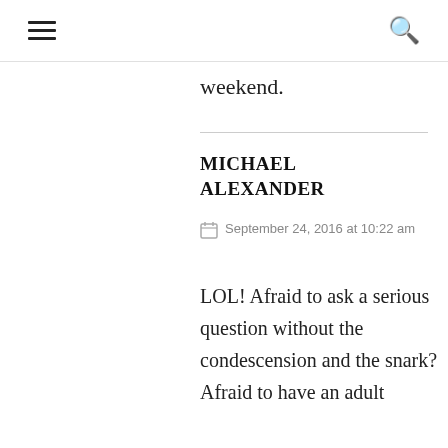☰  🔍
weekend.
MICHAEL ALEXANDER
September 24, 2016 at 10:22 am
LOL! Afraid to ask a serious question without the condescension and the snark? Afraid to have an adult